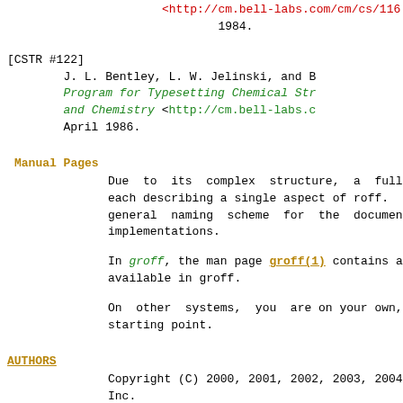<http://cm.bell-labs.com/cm/cs/116.p... 1984.
[CSTR #122]
        J. L. Bentley, L. W. Jelinski, and B...
        Program for Typesetting Chemical Str...
        and Chemistry <http://cm.bell-labs.c...
        April 1986.
Manual Pages
Due to its complex structure, a full rof... each describing a single aspect of roff. U... general naming scheme for the documentat... implementations.
In groff, the man page groff(1) contains a... available in groff.
On other systems, you are on your own,... starting point.
AUTHORS
Copyright (C) 2000, 2001, 2002, 2003, 2004... Inc.
This document is distributed under the term... mentation License) version 1.1 or later. Y... copy of the FDL on your system, it is also...